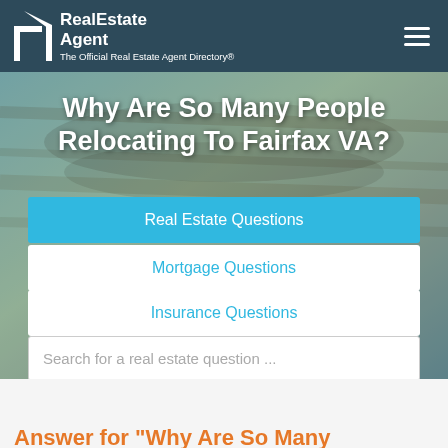RealEstate Agent — The Official Real Estate Agent Directory®
Why Are So Many People Relocating To Fairfax VA?
Real Estate Questions
Mortgage Questions
Insurance Questions
Search for a real estate question ...
Answer for "Why Are So Many